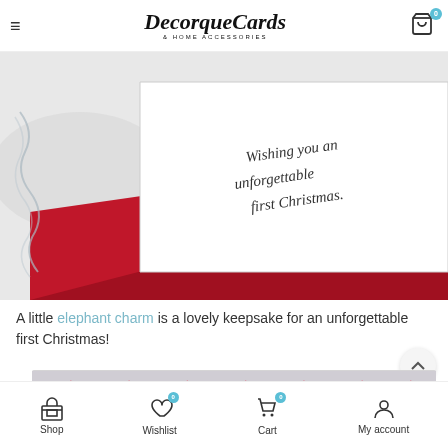DecorqueCards & HOME ACCESSORIES
[Figure (photo): Close-up photo of a white greeting card with handwritten text 'Wishing you an unforgettable first Christmas.' resting on a red envelope, on a white snowy background with a silver chain visible on the left.]
A little elephant charm is a lovely keepsake for an unforgettable first Christmas!
[Figure (photo): Partially visible bottom image showing what appears to be small decorative items or charms in a row on a light background.]
Shop  Wishlist 0  Cart 0  My account